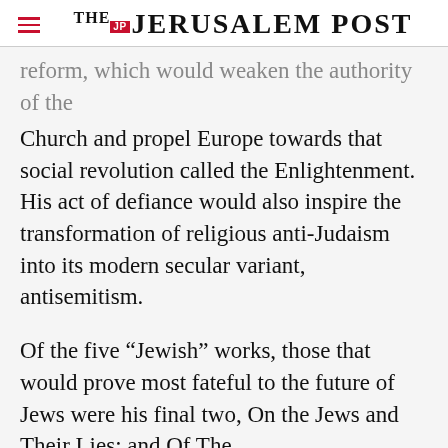THE JERUSALEM POST
reform, which would weaken the authority of the Church and propel Europe towards that social revolution called the Enlightenment. His act of defiance would also inspire the transformation of religious anti-Judaism into its modern secular variant, antisemitism.
Of the five “Jewish” works, those that would prove most fateful to the future of Jews were his final two, On the Jews and Their Lies; and Of The
Advertisement